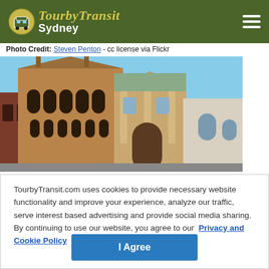TourbyTransit Sydney
Photo Credit: Steven Penton - cc license via Flickr
[Figure (photo): Historic sandstone buildings in Sydney with arched windows and ornate facades against a blue sky]
TourbyTransit.com uses cookies to provide necessary website functionality and improve your experience, analyze our traffic, serve interest based advertising and provide social media sharing. By continuing to use our website, you agree to our Privacy and Cookie Policy
I Agree